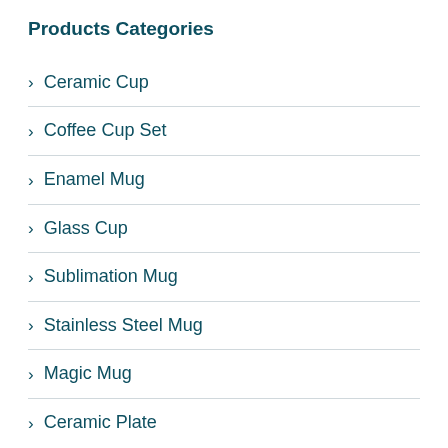Products Categories
> Ceramic Cup
> Coffee Cup Set
> Enamel Mug
> Glass Cup
> Sublimation Mug
> Stainless Steel Mug
> Magic Mug
> Ceramic Plate